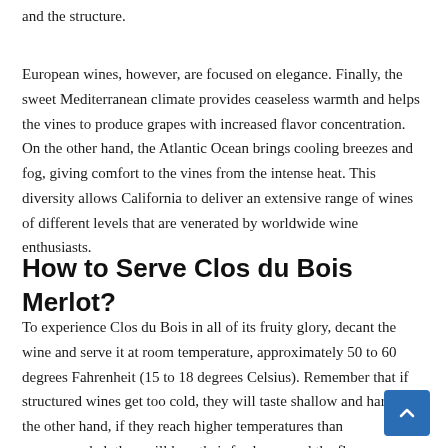and the structure.
European wines, however, are focused on elegance. Finally, the sweet Mediterranean climate provides ceaseless warmth and helps the vines to produce grapes with increased flavor concentration. On the other hand, the Atlantic Ocean brings cooling breezes and fog, giving comfort to the vines from the intense heat. This diversity allows California to deliver an extensive range of wines of different levels that are venerated by worldwide wine enthusiasts.
How to Serve Clos du Bois Merlot?
To experience Clos du Bois in all of its fruity glory, decant the wine and serve it at room temperature, approximately 50 to 60 degrees Fahrenheit (15 to 18 degrees Celsius). Remember that if structured wines get too cold, they will taste shallow and harsh. On the other hand, if they reach higher temperatures than recommended, they will lose their freshness and the flavors become muddled.